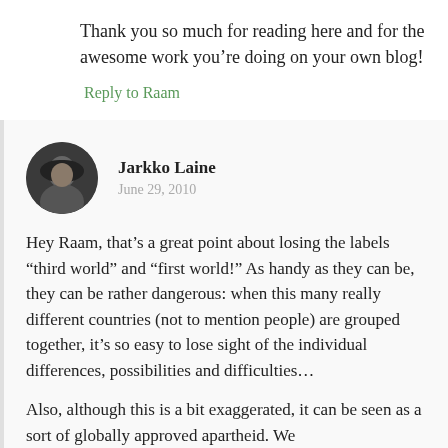Thank you so much for reading here and for the awesome work you’re doing on your own blog!
Reply to Raam
Jarkko Laine
June 29, 2010
Hey Raam, that’s a great point about losing the labels “third world” and “first world!” As handy as they can be, they can be rather dangerous: when this many really different countries (not to mention people) are grouped together, it’s so easy to lose sight of the individual differences, possibilities and difficulties…
Also, although this is a bit exaggerated, it can be seen as a sort of globally approved apartheid. We